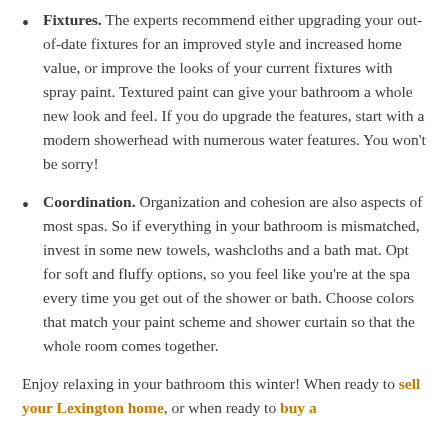Fixtures. The experts recommend either upgrading your out-of-date fixtures for an improved style and increased home value, or improve the looks of your current fixtures with spray paint. Textured paint can give your bathroom a whole new look and feel. If you do upgrade the features, start with a modern showerhead with numerous water features. You won't be sorry!
Coordination. Organization and cohesion are also aspects of most spas. So if everything in your bathroom is mismatched, invest in some new towels, washcloths and a bath mat. Opt for soft and fluffy options, so you feel like you're at the spa every time you get out of the shower or bath. Choose colors that match your paint scheme and shower curtain so that the whole room comes together.
Enjoy relaxing in your bathroom this winter! When ready to sell your Lexington home, or when ready to buy a home...